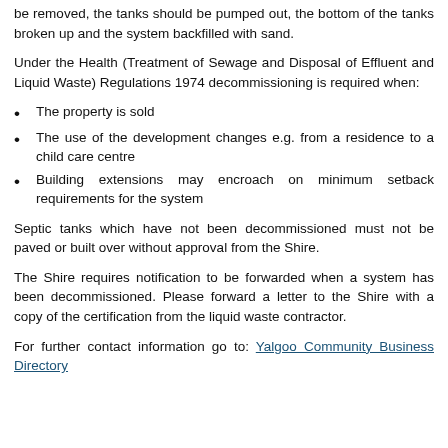be removed, the tanks should be pumped out, the bottom of the tanks broken up and the system backfilled with sand.
Under the Health (Treatment of Sewage and Disposal of Effluent and Liquid Waste) Regulations 1974 decommissioning is required when:
The property is sold
The use of the development changes e.g. from a residence to a child care centre
Building extensions may encroach on minimum setback requirements for the system
Septic tanks which have not been decommissioned must not be paved or built over without approval from the Shire.
The Shire requires notification to be forwarded when a system has been decommissioned. Please forward a letter to the Shire with a copy of the certification from the liquid waste contractor.
For further contact information go to: Yalgoo Community Business Directory